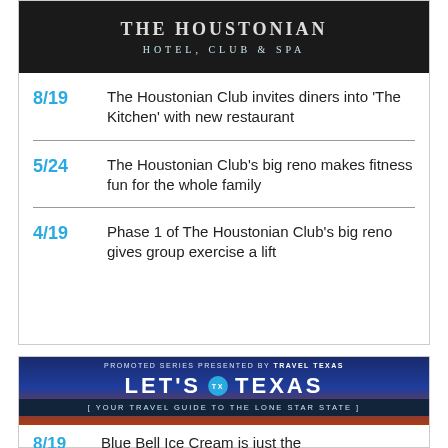[Figure (photo): The Houstonian Hotel, Club & Spa banner image with dark background and text]
8/19 The Houstonian Club invites diners into 'The Kitchen' with new restaurant
5/24 The Houstonian Club's big reno makes fitness fun for the whole family
4/19 Phase 1 of The Houstonian Club's big reno gives group exercise a lift
[Figure (photo): Let's Texas promoted series banner presented by Travel Texas, with camping scene at sunset. YOUR TRAVEL GUIDE TO THE LONE STAR STATE]
8/19 Blue Bell Ice Cream is just the